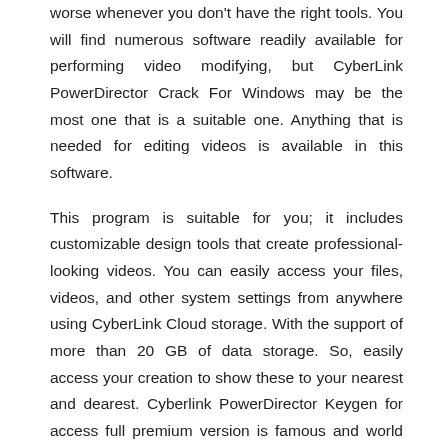worse whenever you don't have the right tools. You will find numerous software readily available for performing video modifying, but CyberLink PowerDirector Crack For Windows may be the most one that is a suitable one. Anything that is needed for editing videos is available in this software.
This program is suitable for you; it includes customizable design tools that create professional-looking videos. You can easily access your files, videos, and other system settings from anywhere using CyberLink Cloud storage. With the support of more than 20 GB of data storage. So, easily access your creation to show these to your nearest and dearest. Cyberlink PowerDirector Keygen for access full premium version is famous and world best fastest video editing software integrated with a 64-bit TrueVelocity engine and latest hardware acceleration technology.
Cyberlink PowerDirector Ultra Keygen
Cyberlink PowerDirector Ultra 20.1.2607.0 Keygen syncs